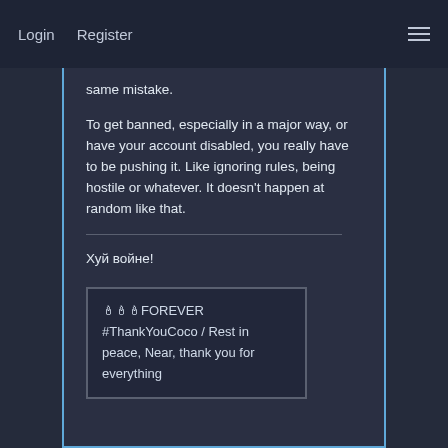Login   Register
same mistake.
To get banned, especially in a major way, or have your account disabled, you really have to be pushing it. Like ignoring rules, being hostile or whatever. It doesn't happen at random like that.
Хуй войне!
🕯🕯🕯FOREVER
#ThankYouCoco / Rest in peace, Near, thank you for everything